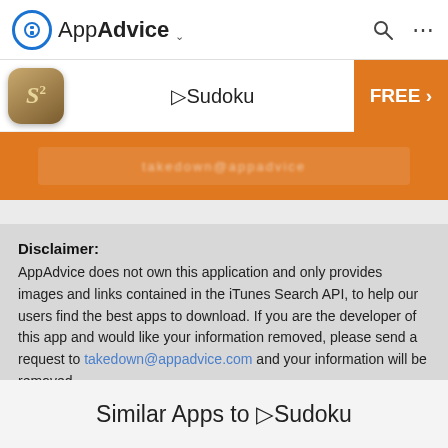AppAdvice
▷Sudoku — FREE >
[Figure (screenshot): Orange app promotional banner, partially visible with blurred text]
Disclaimer: AppAdvice does not own this application and only provides images and links contained in the iTunes Search API, to help our users find the best apps to download. If you are the developer of this app and would like your information removed, please send a request to takedown@appadvice.com and your information will be removed.
Similar Apps to ▷Sudoku